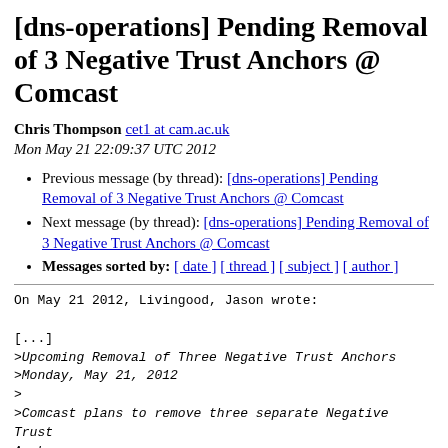[dns-operations] Pending Removal of 3 Negative Trust Anchors @ Comcast
Chris Thompson cet1 at cam.ac.uk
Mon May 21 22:09:37 UTC 2012
Previous message (by thread): [dns-operations] Pending Removal of 3 Negative Trust Anchors @ Comcast
Next message (by thread): [dns-operations] Pending Removal of 3 Negative Trust Anchors @ Comcast
Messages sorted by: [ date ] [ thread ] [ subject ] [ author ]
On May 21 2012, Livingood, Jason wrote:

[...]
>Upcoming Removal of Three Negative Trust Anchors
>Monday, May 21, 2012
>
>Comcast plans to remove three separate Negative Trust Anchors
[...]